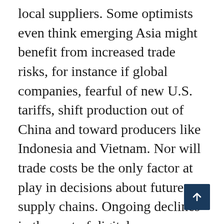local suppliers. Some optimists even think emerging Asia might benefit from increased trade risks, for instance if global companies, fearful of new U.S. tariffs, shift production out of China and toward producers like Indonesia and Vietnam. Nor will trade costs be the only factor at play in decisions about future supply chains. Ongoing declines in the cost of digital communication are still making it easier to manage complex and distant suppliers, as trade economist Richard Baldwin points out, providing one potential counterbalance.

Yet the idea that a possible new era of sharply